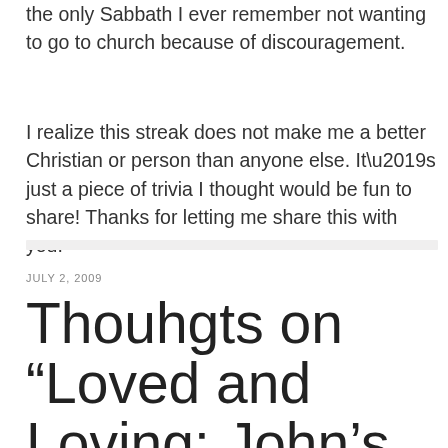the only Sabbath I ever remember not wanting to go to church because of discouragement.
I realize this streak does not make me a better Christian or person than anyone else. It’s just a piece of trivia I thought would be fun to share! Thanks for letting me share this with you.
JULY 2, 2009
Thouhgts on “Loved and Loving: John’s Epistles” Lesson 1